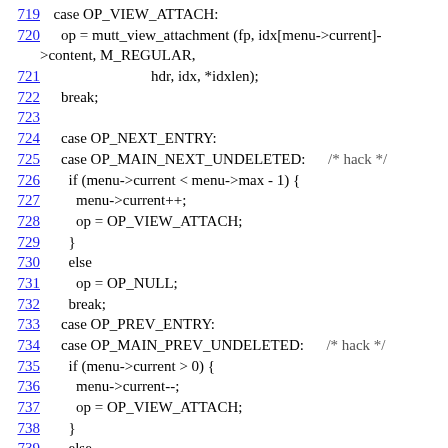Code listing lines 719–742 showing C source code for attachment viewing and navigation operations
719    case OP_VIEW_ATTACH:
720      op = mutt_view_attachment (fp, idx[menu->current]->content, M_REGULAR,
721                                  hdr, idx, *idxlen);
722      break;
723
724      case OP_NEXT_ENTRY:
725      case OP_MAIN_NEXT_UNDELETED:      /* hack */
726        if (menu->current < menu->max - 1) {
727          menu->current++;
728          op = OP_VIEW_ATTACH;
729        }
730        else
731          op = OP_NULL;
732        break;
733      case OP_PREV_ENTRY:
734      case OP_MAIN_PREV_UNDELETED:      /* hack */
735        if (menu->current > 0) {
736          menu->current--;
737          op = OP_VIEW_ATTACH;
738        }
739        else
740          op = OP_NULL;
741        break;
742      case OP_EDIT_TYPE: